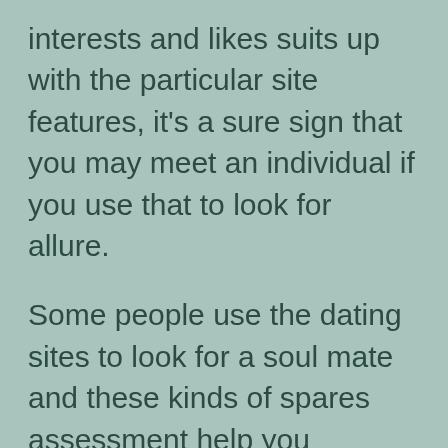interests and likes suits up with the particular site features, it's a sure sign that you may meet an individual if you use that to look for allure.
Some people use the dating sites to look for a soul mate and these kinds of spares assessment help you appreciate whether you must choose to connect with them or not. The Agari dating scam is a common practice wherever con artists guarantee to get the partner of your dreams using only the power of the imagination. Other folks have committed physical cheating through the Agari method. Examine many reviews available online and